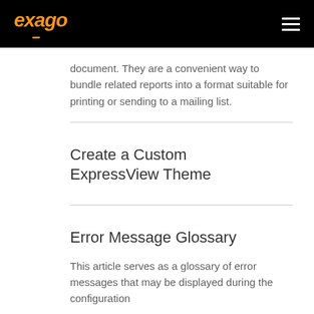exago
document. They are a convenient way to bundle related reports into a format suitable for printing or sending to a mailing list.
Create a Custom ExpressView Theme
Error Message Glossary
This article serves as a glossary of error messages that may be displayed during the configuration